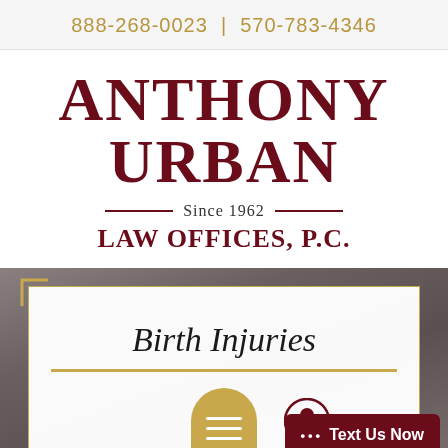888-268-0023 | 570-783-4346
ANTHONY URBAN Since 1962 LAW OFFICES, P.C.
[Figure (screenshot): A white card overlay on a blurred background photo showing 'Birth Injuries' heading with gold decorative elements, a gold icon, and a 'Text Us Now' button in dark red.]